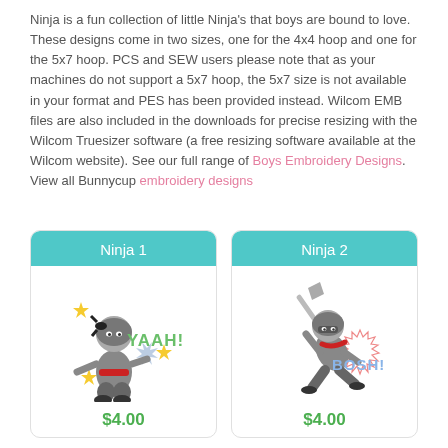Ninja is a fun collection of little Ninja's that boys are bound to love. These designs come in two sizes, one for the 4x4 hoop and one for the 5x7 hoop. PCS and SEW users please note that as your machines do not support a 5x7 hoop, the 5x7 size is not available in your format and PES has been provided instead. Wilcom EMB files are also included in the downloads for precise resizing with the Wilcom Truesizer software (a free resizing software available at the Wilcom website). See our full range of Boys Embroidery Designs. View all Bunnycup embroidery designs
[Figure (illustration): Card showing Ninja 1 embroidery design - a cartoon ninja in fighting stance with 'YAAH!' text, stars, and a blue starburst. Price $4.00]
[Figure (illustration): Card showing Ninja 2 embroidery design - a cartoon ninja mid-air with a weapon and 'BOSH!' text. Price $4.00]